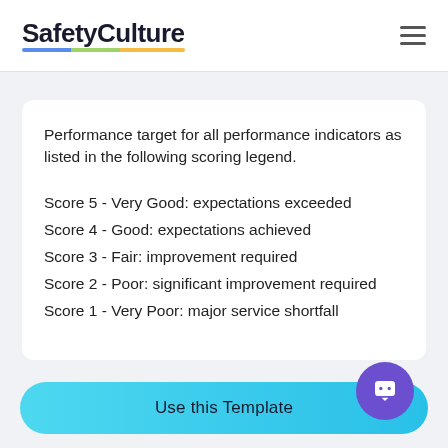SafetyCulture
Performance target for all performance indicators as listed in the following scoring legend.
Score 5 - Very Good: expectations exceeded
Score 4 - Good: expectations achieved
Score 3 - Fair: improvement required
Score 2 - Poor: significant improvement required
Score 1 - Very Poor: major service shortfall
Use this Template